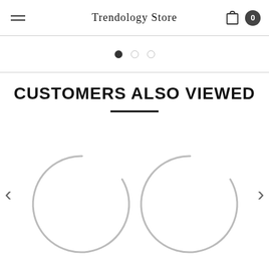Trendology Store
[Figure (screenshot): Carousel dot indicators: one filled black dot and two hollow circle dots]
CUSTOMERS ALSO VIEWED
[Figure (illustration): Two circular loading spinner arcs indicating product images loading, with left and right navigation arrows on each side]